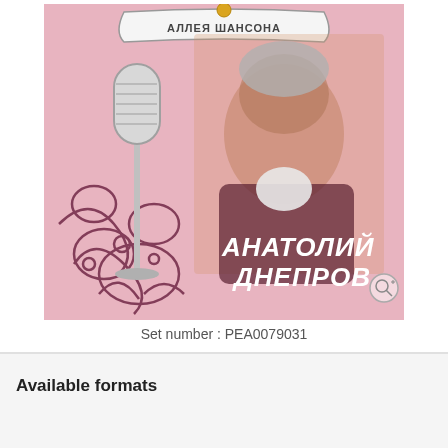[Figure (illustration): Album cover for Анатолий Днепров (Anatoly Dneprov) from the series Аллея Шансона. Pink background with decorative microphone illustration on left side, photo of middle-aged man with grey hair wearing dark jacket and white scarf in center-right. Bold white italic Cyrillic text reads АНАТОЛИЙ ДНЕПРОВ. Zoom icon in bottom right corner.]
Set number : PEA0079031
[Figure (infographic): Social sharing bar with pink border containing Facebook (blue), Pinterest (red), and Twitter (blue) icons. A pink circular badge on the right reads 'sale for share'.]
Available formats